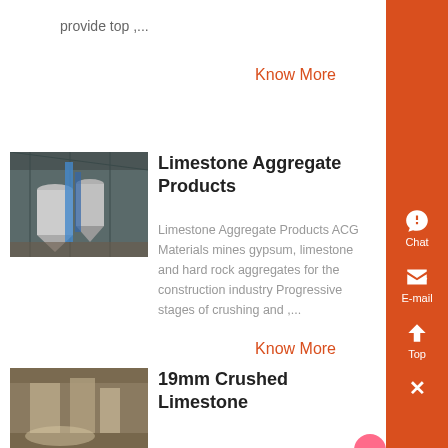provide top ,...
Know More
[Figure (photo): Industrial facility interior with large cylindrical silos and blue piping]
Limestone Aggregate Products
Limestone Aggregate Products ACG Materials mines gypsum, limestone and hard rock aggregates for the construction industry Progressive stages of crushing and ,...
Know More
[Figure (photo): Industrial or mining facility with equipment]
19mm Crushed Limestone